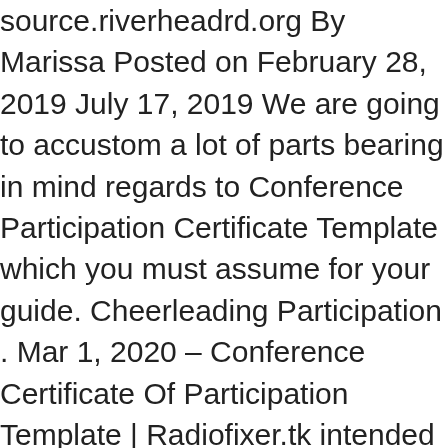source.riverheadrd.org By Marissa Posted on February 28, 2019 July 17, 2019 We are going to accustom a lot of parts bearing in mind regards to Conference Participation Certificate Template which you must assume for your guide. Cheerleading Participation . Mar 1, 2020 - Conference Certificate Of Participation Template | Radiofixer.tk intended for Certificate Of Attendance Conference Template - Douglasbaseball.com Free Certificate Template Sample in PDF, Word (Doc). If you require separate certificates for multiple presentations (i.e. Claim Credit. Please fill out the below form to receive an official Certificate of Participation from the Conference Committee. The mesmerizing free Printable Certificate Of Participation Templates (Cop) Throughout Conference Certificate Of Attendance Template picture below, is other parts of Conference Certificate Of Attendance Template write-up which is classified within Certificate Template and